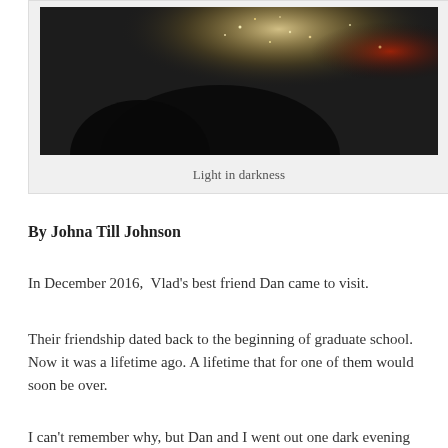[Figure (photo): Dark photograph showing silhouettes with glowing lights in the background, suggestive of a nighttime or indoor scene with holiday lights.]
Light in darkness
By Johna Till Johnson
In December 2016,  Vlad's best friend Dan came to visit.
Their friendship dated back to the beginning of graduate school. Now it was a lifetime ago. A lifetime that for one of them would soon be over.
I can’t remember why, but Dan and I went out one dark evening to get something. We had to